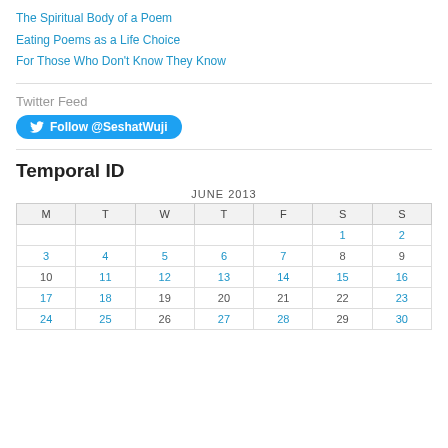The Spiritual Body of a Poem
Eating Poems as a Life Choice
For Those Who Don't Know They Know
Twitter Feed
Follow @SeshatWuji
Temporal ID
| M | T | W | T | F | S | S |
| --- | --- | --- | --- | --- | --- | --- |
|  |  |  |  |  | 1 | 2 |
| 3 | 4 | 5 | 6 | 7 | 8 | 9 |
| 10 | 11 | 12 | 13 | 14 | 15 | 16 |
| 17 | 18 | 19 | 20 | 21 | 22 | 23 |
| 24 | 25 | 26 | 27 | 28 | 29 | 30 |